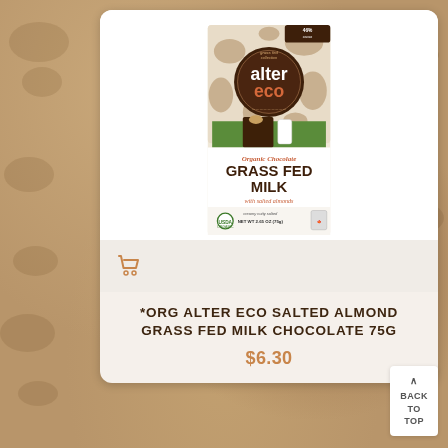[Figure (photo): Alter Eco Organic Chocolate Grass Fed Milk with salted almonds chocolate bar product package, 75g / 2.65oz. Package features cow-spot pattern, grass-fed collection branding, almonds and milk bottle imagery.]
*ORG ALTER ECO SALTED ALMOND GRASS FED MILK CHOCOLATE 75G
$6.30